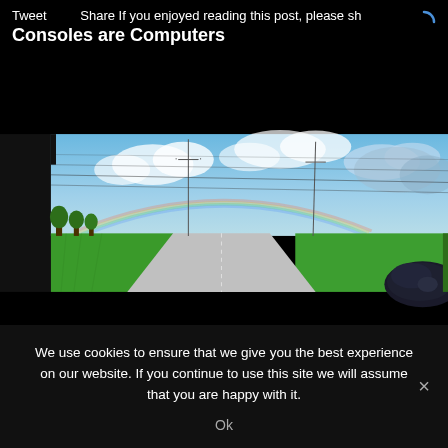Tweet   Share If you enjoyed reading this post, please sh
Consoles are Computers
[Figure (photo): View from inside a car looking out at a rural road with green fields on either side, power lines, and a partly cloudy blue sky with a faint rainbow. A car side mirror is visible in the lower right corner.]
We use cookies to ensure that we give you the best experience on our website. If you continue to use this site we will assume that you are happy with it.
Ok